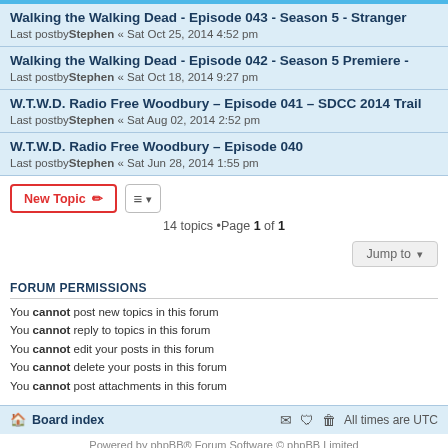Walking the Walking Dead - Episode 043 - Season 5 - Stranger
Last postby Stephen « Sat Oct 25, 2014 4:52 pm
Walking the Walking Dead - Episode 042 - Season 5 Premiere -
Last postby Stephen « Sat Oct 18, 2014 9:27 pm
W.T.W.D. Radio Free Woodbury – Episode 041 – SDCC 2014 Trail
Last postby Stephen « Sat Aug 02, 2014 2:52 pm
W.T.W.D. Radio Free Woodbury – Episode 040
Last postby Stephen « Sat Jun 28, 2014 1:55 pm
14 topics •Page 1 of 1
FORUM PERMISSIONS
You cannot post new topics in this forum
You cannot reply to topics in this forum
You cannot edit your posts in this forum
You cannot delete your posts in this forum
You cannot post attachments in this forum
Board index   All times are UTC
Powered by phpBB® Forum Software © phpBB Limited